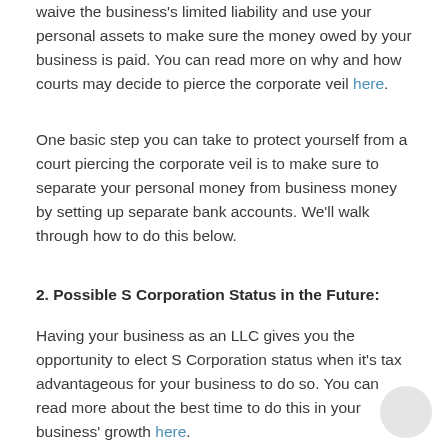waive the business's limited liability and use your personal assets to make sure the money owed by your business is paid. You can read more on why and how courts may decide to pierce the corporate veil here.
One basic step you can take to protect yourself from a court piercing the corporate veil is to make sure to separate your personal money from business money by setting up separate bank accounts. We'll walk through how to do this below.
2. Possible S Corporation Status in the Future:
Having your business as an LLC gives you the opportunity to elect S Corporation status when it's tax advantageous for your business to do so. You can read more about the best time to do this in your business' growth here.
3. Build a Professional Image: